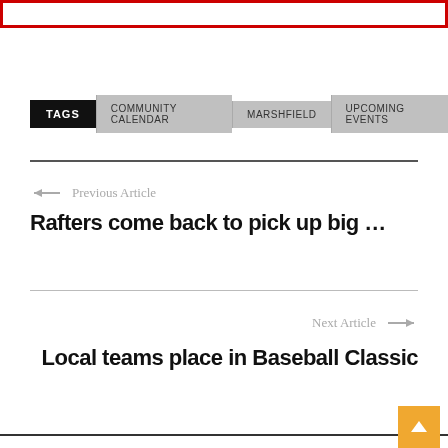[Figure (other): Top banner image with red border]
TAGS  COMMUNITY CALENDAR  MARSHFIELD  UPCOMING EVENTS
← Previous Article
Rafters come back to pick up big …
Next Article →
Local teams place in Baseball Classic